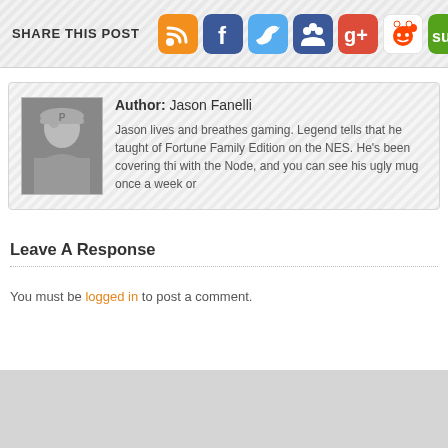SHARE THIS POST
[Figure (screenshot): Social sharing icons: RSS, Facebook, Twitter, MySpace, Google+, Reddit, StumbleUpon]
[Figure (photo): Black and white photo of author Jason Fanelli wearing a baseball cap]
Author: Jason Fanelli
Jason lives and breathes gaming. Legend tells that he taught of Fortune Family Edition on the NES. He's been covering thi with the Node, and you can see his ugly mug once a week or
Leave A Response
You must be logged in to post a comment.